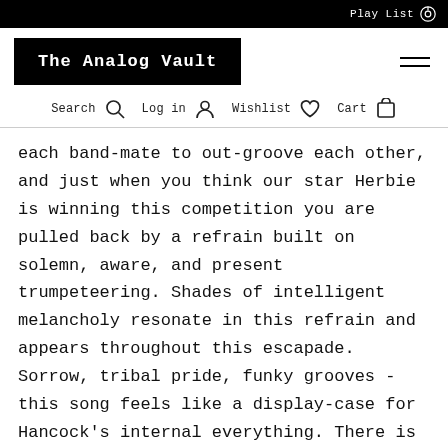Play List
The Analog Vault
Search  Log in  Wishlist  Cart
each band-mate to out-groove each other, and just when you think our star Herbie is winning this competition you are pulled back by a refrain built on solemn, aware, and present trumpeteering. Shades of intelligent melancholy resonate in this refrain and appears throughout this escapade. Sorrow, tribal pride, funky grooves - this song feels like a display-case for Hancock's internal everything. There is no solitudinous direction… only glimpses of Hancock and co. The result is a range of atmospheres to contemplate… all